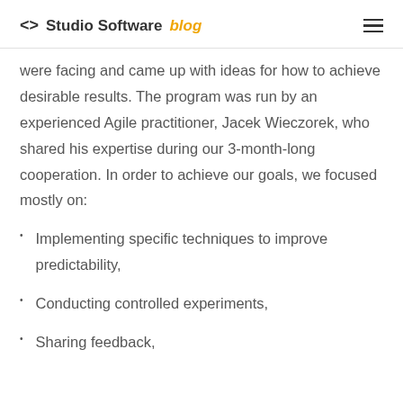<> Studio Software blog
were facing and came up with ideas for how to achieve desirable results. The program was run by an experienced Agile practitioner, Jacek Wieczorek, who shared his expertise during our 3-month-long cooperation. In order to achieve our goals, we focused mostly on:
Implementing specific techniques to improve predictability,
Conducting controlled experiments,
Sharing feedback,